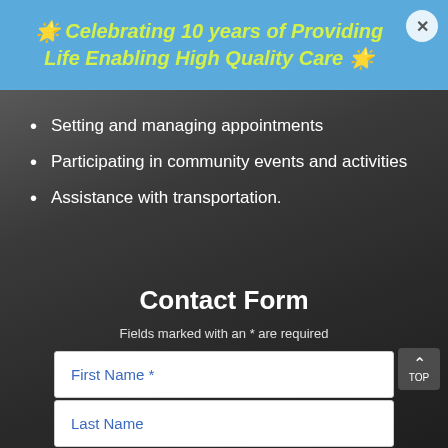🌟 Celebrating 10 years of Providing Life Enabling High Quality Care 🌟
Setting and managing appointments
Participating in community events and activities
Assistance with transportation.
Contact Form
Fields marked with an * are required
First Name *
Last Name
Email *